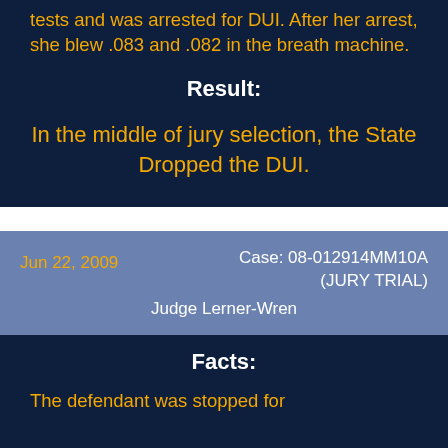tests and was arrested for DUI. After her arrest, she blew .083 and .082 in the breath machine.
Result:
In the middle of jury selection, the State Dropped the DUI.
Jun 22, 2009
Case: 08-012914MM10A (JURY TRIAL)
Judge Lerner-Wren
Facts:
The defendant was stopped for